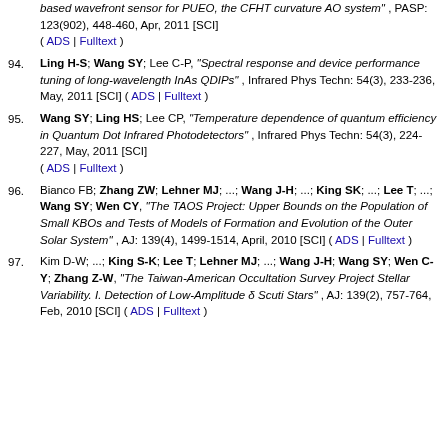(continuation) ...based wavefront sensor for PUEO, the CFHT curvature AO system", PASP: 123(902), 448-460, Apr, 2011 [SCI] ( ADS | Fulltext )
94. Ling H-S; Wang SY; Lee C-P, "Spectral response and device performance tuning of long-wavelength InAs QDIPs", Infrared Phys Techn: 54(3), 233-236, May, 2011 [SCI] ( ADS | Fulltext )
95. Wang SY; Ling HS; Lee CP, "Temperature dependence of quantum efficiency in Quantum Dot Infrared Photodetectors", Infrared Phys Techn: 54(3), 224-227, May, 2011 [SCI] ( ADS | Fulltext )
96. Bianco FB; Zhang ZW; Lehner MJ; ...; Wang J-H; ...; King SK; ...; Lee T; ...; Wang SY; Wen CY, "The TAOS Project: Upper Bounds on the Population of Small KBOs and Tests of Models of Formation and Evolution of the Outer Solar System", AJ: 139(4), 1499-1514, April, 2010 [SCI] ( ADS | Fulltext )
97. Kim D-W; ...; King S-K; Lee T; Lehner MJ; ...; Wang J-H; Wang SY; Wen C-Y; Zhang Z-W, "The Taiwan-American Occultation Survey Project Stellar Variability. I. Detection of Low-Amplitude delta Scuti Stars", AJ: 139(2), 757-764, Feb, 2010 [SCI] ( ADS | Fulltext )